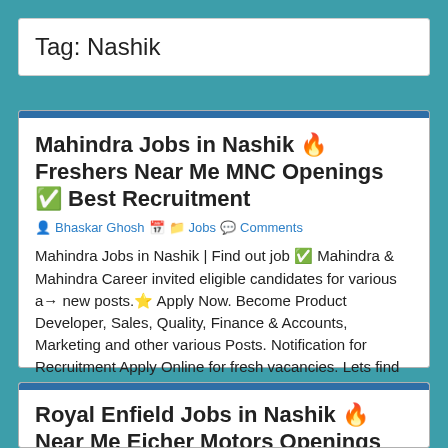Tag: Nashik
Mahindra Jobs in Nashik 🔥 Freshers Near Me MNC Openings ✅ Best Recruitment
Bhaskar Ghosh  📅  📁 Jobs  💬 Comments
Mahindra Jobs in Nashik | Find out job ✅ Mahindra & Mahindra Career invited eligible candidates for various a→ new posts.⭐ Apply Now. Become Product Developer, Sales, Quality, Finance & Accounts, Marketing and other various Posts. Notification for Recruitment Apply Online for fresh vacancies. Lets find out recruitment Salary, Qualification and more details. Eligible candidates [...]
Royal Enfield Jobs in Nashik 🔥 Near Me Eicher Motors Openings ✅ Best Recruitment